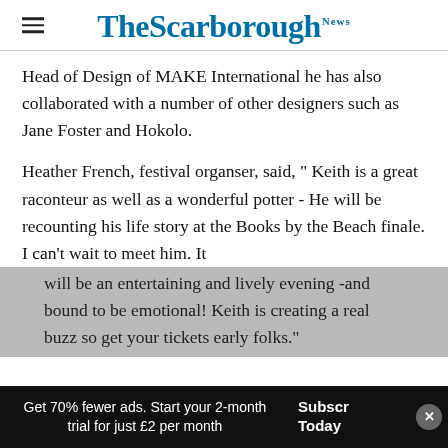The Scarborough News
Head of Design of MAKE International he has also collaborated with a number of other designers such as Jane Foster and Hokolo.
Heather French, festival organser, said, “ Keith is a great raconteur as well as a wonderful potter - He will be recounting his life story at the Books by the Beach finale. I can’t wait to meet him. It will be an entertaining and lively evening -and bound to be emotional! Keith is creating a real buzz so get your tickets early folks.”
Get 70% fewer ads. Start your 2-month trial for just £2 per month | Subscribe Today